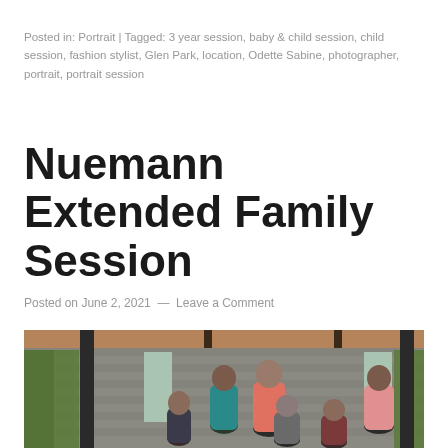Posted in: Portrait | Tagged: 3 year session, baby & child session, child session, fashion stylist, Glen Park, location, Odette Sabine, photographer, portrait, portrait session
Nuemann Extended Family Session
Posted on June 2, 2021 — Leave a Comment
[Figure (photo): Family group photo taken under a covered pavilion with stone block walls. Multiple family members including adults and children posing together, one adult wearing a pink floral shirt.]